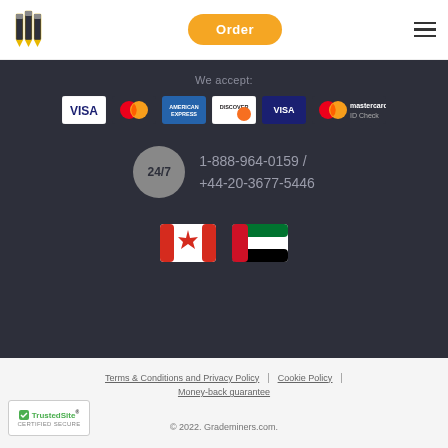[Figure (logo): Pencil/pen logo icon for Grademiners]
Order
[Figure (illustration): Hamburger menu icon]
We accept:
[Figure (illustration): Payment logos: VISA, Mastercard, American Express, Discover, VISA blue, Mastercard ID Check]
1-888-964-0159 / +44-20-3677-5446
[Figure (illustration): Canadian flag and UAE flag]
Terms & Conditions and Privacy Policy | Cookie Policy | Money-back guarantee
[Figure (logo): TrustedSite Certified Secure badge]
© 2022. Grademiners.com.